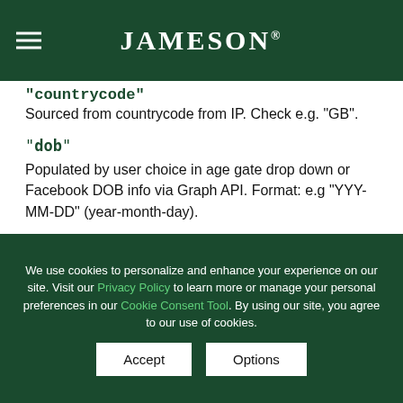JAMESON®
"countrycode" Sourced from countrycode from IP. Check e.g. "GB".
"dob" Populated by user choice in age gate drop down or Facebook DOB info via Graph API. Format: e.g "YYY-MM-DD" (year-month-day).
"selected_country" Country, based on user selection at age gate e.g. "VN".
We use cookies to personalize and enhance your experience on our site. Visit our Privacy Policy to learn more or manage your personal preferences in our Cookie Consent Tool. By using our site, you agree to our use of cookies.